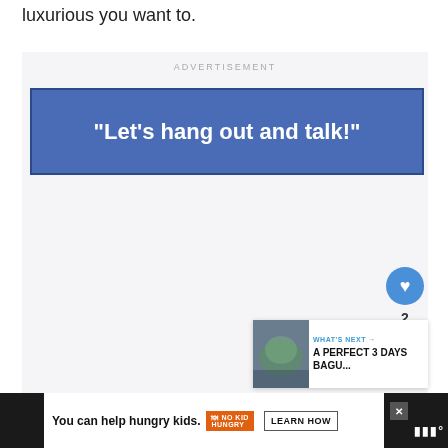luxurious you want to.
[Figure (screenshot): Advertisement container with blue banner reading “Let’s hang out and talk!”, heart/share buttons on the right, and a What’s Next thumbnail for A Perfect 3 Days Bagu...]
[Figure (infographic): Bottom dark bar with white advertisement panel: 'You can help hungry kids.' with No Kid Hungry logo and LEARN HOW button, close X button, and WW logo on the right.]